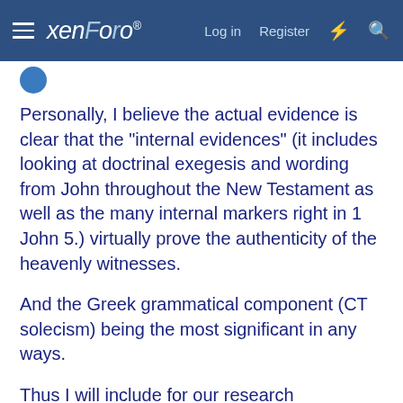xenForo — Log in  Register
Personally, I believe the actual evidence is clear that the "internal evidences" (it includes looking at doctrinal exegesis and wording from John throughout the New Testament as well as the many internal markers right in 1 John 5.) virtually prove the authenticity of the heavenly witnesses.
And the Greek grammatical component (CT solecism) being the most significant in any ways.
Thus I will include for our research community a full complement of urls, so that others can benefit from the research to date. I plan some updating, this goes back a couple of years, and even mini-reviews of many of the writings below, in terms of how they